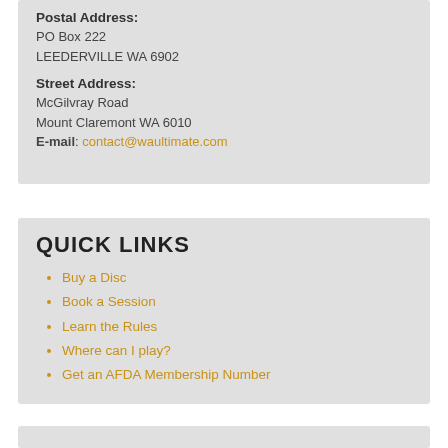Postal Address:
PO Box 222
LEEDERVILLE WA 6902
Street Address:
McGilvray Road
Mount Claremont WA 6010
E-mail: contact@waultimate.com
QUICK LINKS
Buy a Disc
Book a Session
Learn the Rules
Where can I play?
Get an AFDA Membership Number